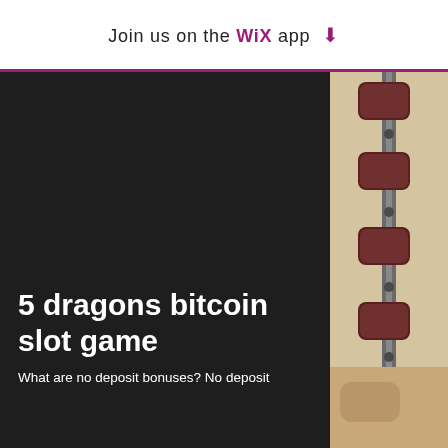Join us on the WiX app ↓
[Figure (photo): Dark content panel on left with gym equipment photo visible on the right side showing brown padded exercise bench/inversion table components against a light wall]
5 dragons bitcoin slot game
What are no deposit bonuses? No deposit